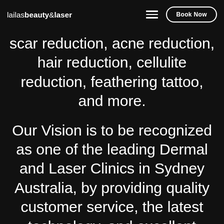lailasbeauty&laser  ≡  Book Now
scar reduction, acne reduction, hair reduction, cellulite reduction, feathering tattoo, and more.
Our Vision is to be recognized as one of the leading Dermal and Laser Clinics in Sydney Australia, by providing quality customer service, the latest technology, and excellent unique products, combined with over 20 years of experience, passion, and dedication, we give our clients the confidence to love their skin by